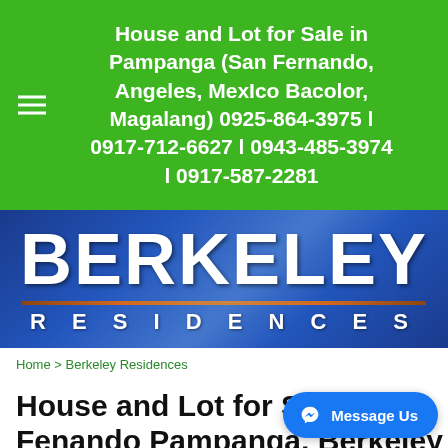House and Lot for Sale in Pampanga (San Fernando, Angeles, MexIco Bacolor, Magalang) 0925-864-3975 l 0917-712-6627 l 0943-485-3974 l 0917-587-2281
[Figure (logo): Berkeley Residences logo banner — large white BERKELEY text over blue gradient background with a horizontal brown/gold divider line and RESIDENCES text below in spaced white letters]
Home > Berkeley Residences
House and Lot for Sale San Fenando Pampanga, Berkeley Residences
BERKELEY RESIDENCES PAMPANGA is only 3 minutes away from the region's best retail and commercial centers such as SM San Fernando,